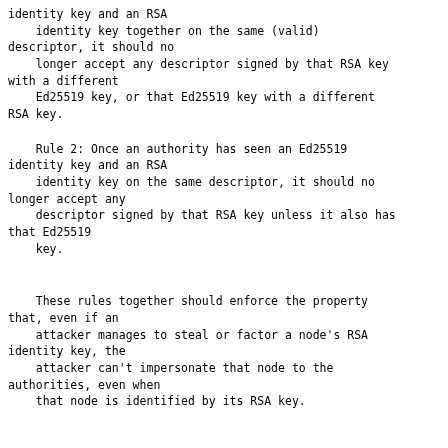identity key and an RSA
    identity key together on the same (valid)
descriptor, it should no
    longer accept any descriptor signed by that RSA key
with a different
    Ed25519 key, or that Ed25519 key with a different
RSA key.
Rule 2: Once an authority has seen an Ed25519
identity key and an RSA
    identity key on the same descriptor, it should no
longer accept any
    descriptor signed by that RSA key unless it also has
that Ed25519
    key.
These rules together should enforce the property
that, even if an
    attacker manages to steal or factor a node's RSA
identity key, the
    attacker can't impersonate that node to the
authorities, even when
    that node is identified by its RSA key.
Enforcement of Rule 1 should be advisory-only for a
little while (a
    release or two) while node operators get experience
having Ed25519